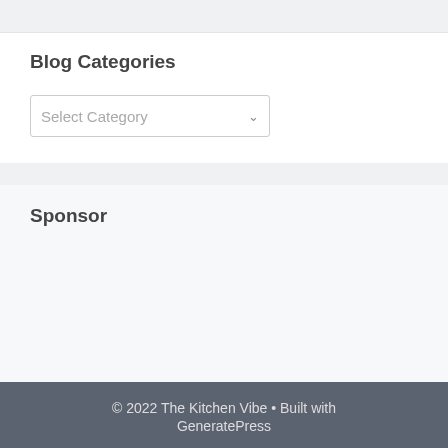Blog Categories
[Figure (screenshot): A dropdown select box with placeholder text 'Select Category' and a chevron arrow on the right]
Sponsor
© 2022 The Kitchen Vibe • Built with GeneratePress